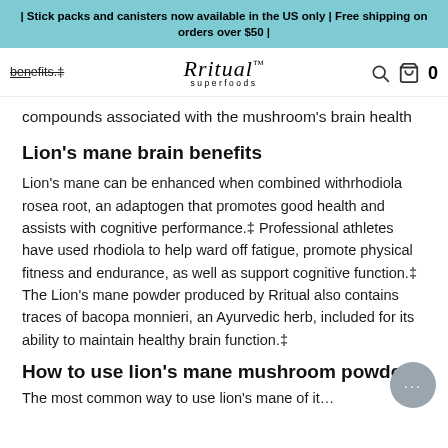| Stick packs and canisters now available in the US only | Free shipping on orders over $50 |
compounds associated with the mushroom's brain health benefits.‡  Rritual superfoods  0
Lion's mane brain benefits
Lion's mane can be enhanced when combined withrhodiola rosea root, an adaptogen that promotes good health and assists with cognitive performance.‡ Professional athletes have used rhodiola to help ward off fatigue, promote physical fitness and endurance, as well as support cognitive function.‡ The Lion's mane powder produced by Rritual also contains traces of bacopa monnieri, an Ayurvedic herb, included for its ability to maintain healthy brain function.‡
How to use lion's mane mushroom powder
The most common way to use lion's mane of it…